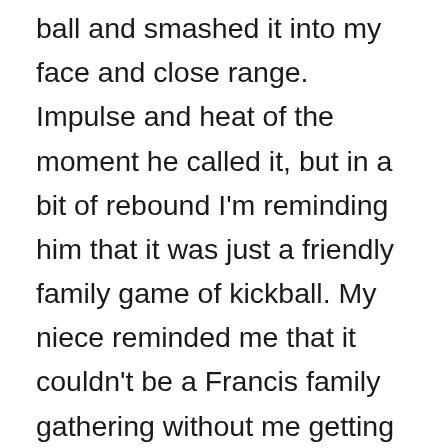ball and smashed it into my face and close range. Impulse and heat of the moment he called it, but in a bit of rebound I'm reminding him that it was just a friendly family game of kickball. My niece reminded me that it couldn't be a Francis family gathering without me getting hurt. Over those many years of Thanksgiving gatherings we would play touch football, and given my personality, I don't really play half-heartedly, so her comment was justified. I guess my nephew is of the same tribe.